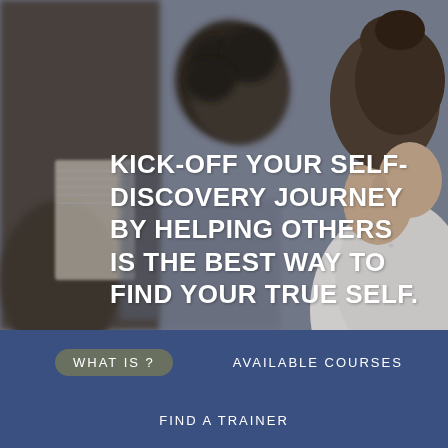[Figure (photo): Blurred background photo of people at what appears to be a social or educational gathering. A woman with her hair up in a bun is visible in the foreground on the right, wearing a white top. Another person with curly hair is visible in the middle background.]
KICK-OFF YOUR SELF-DISCOVERY JOURNEY BY HELPING OTHERS IS THE BEST WAY TO FIND YOUR TRUE SELF.
WHAT IS ?
AVAILABLE COURSES
FIND A TRAINER